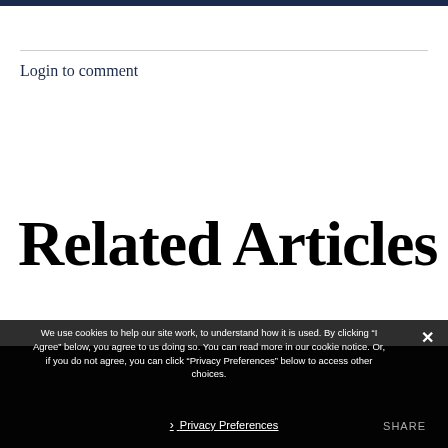Login to comment
Related Articles
We use cookies to help our site work, to understand how it is used. By clicking “I Agree” below, you agree to us doing so. You can read more in our cookie notice. Or, if you do not agree, you can click "Privacy Preferences" below to access other choices.
› Privacy Preferences
SHARE